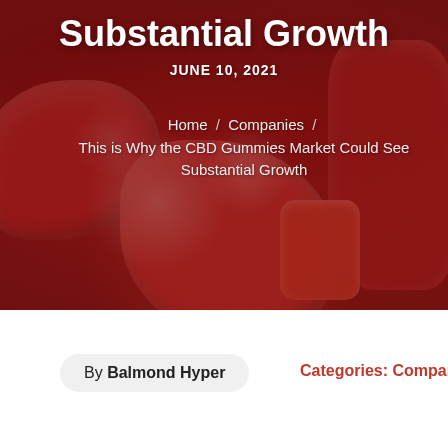[Figure (photo): Close-up photo of red sugary CBD gummy candies with a dark red/maroon background, showing sugar-coated gummy bears or similar candy pieces.]
Substantial Growth
JUNE 10, 2021
Home / Companies / This is Why the CBD Gummies Market Could See Substantial Growth
By Balmond Hyper
Categories: Companies,